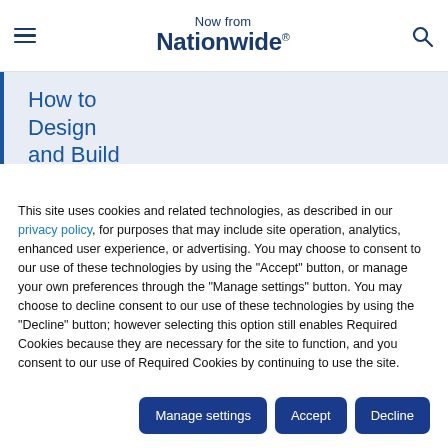Now from Nationwide®
How to Design and Build
This site uses cookies and related technologies, as described in our privacy policy, for purposes that may include site operation, analytics, enhanced user experience, or advertising. You may choose to consent to our use of these technologies by using the "Accept" button, or manage your own preferences through the "Manage settings" button. You may choose to decline consent to our use of these technologies by using the "Decline" button; however selecting this option still enables Required Cookies because they are necessary for the site to function, and you consent to our use of Required Cookies by continuing to use the site.
Manage settings | Accept | Decline